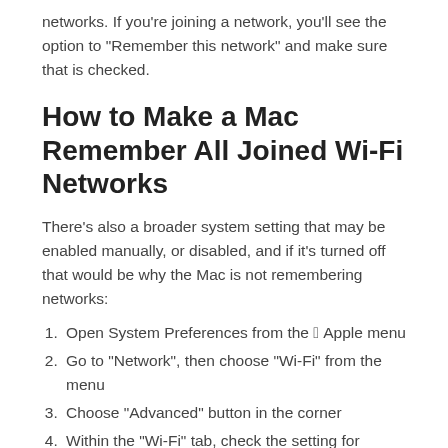networks. If you’re joining a network, you’ll see the option to “Remember this network” and make sure that is checked.
How to Make a Mac Remember All Joined Wi-Fi Networks
There’s also a broader system setting that may be enabled manually, or disabled, and if it’s turned off that would be why the Mac is not remembering networks:
Open System Preferences from the  Apple menu
Go to “Network”, then choose “Wi-Fi” from the menu
Choose “Advanced” button in the corner
Within the “Wi-Fi” tab, check the setting for “Remember networks this computer has joined”